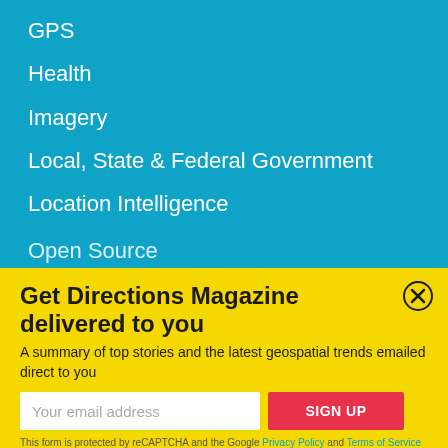GPS
Health
Imagery
Local, State & Federal Government
Location Intelligence
Open Source
Get Directions Magazine delivered to you
A summary of top stories and the latest geospatial trends emailed direct to you
Your email address
SIGN UP
This form is protected by reCAPTCHA and the Google Privacy Policy and Terms of Service apply.